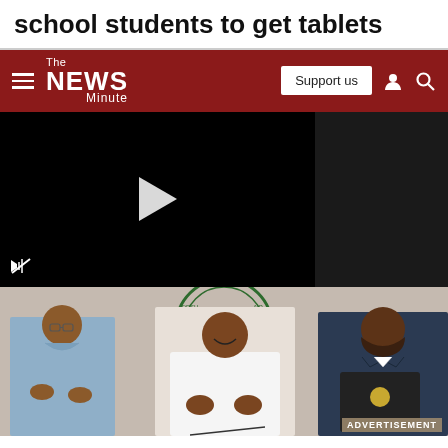school students to get tablets
[Figure (screenshot): The News Minute navigation bar with hamburger menu, logo, Support us button, user icon, and search icon on dark red background]
[Figure (screenshot): Video player showing dark/black frame with white play button triangle in center and mute icon at bottom left, alongside a dark sidebar panel]
[Figure (photo): Three men posing at an official signing ceremony. Left man in light blue shirt clapping, center man in white kurta (appears to be a politician), right man in dark suit holding a black folder with official seal. Background shows Andhra Pradesh government emblem/seal on wall.]